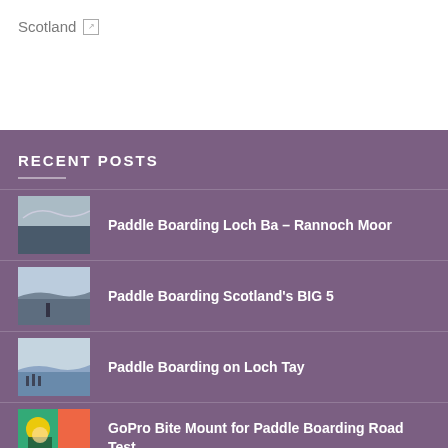Scotland 🔗
RECENT POSTS
Paddle Boarding Loch Ba – Rannoch Moor
Paddle Boarding Scotland's BIG 5
Paddle Boarding on Loch Tay
GoPro Bite Mount for Paddle Boarding Road Test